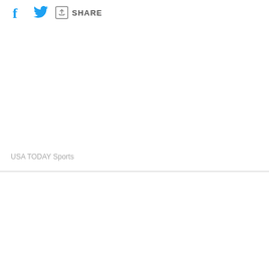[Figure (screenshot): Social media share bar with Facebook icon, Twitter bird icon, and a share button with upload/share icon and SHARE text label]
USA TODAY Sports